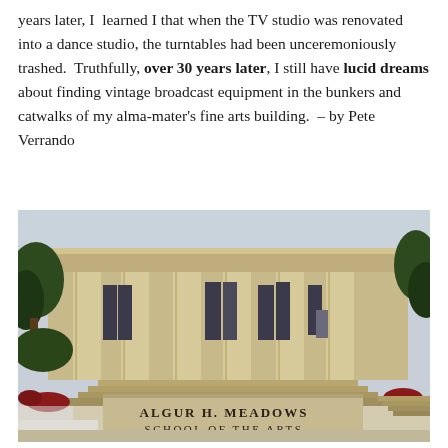years later, I learned I that when the TV studio was renovated into a dance studio, the turntables had been unceremoniously trashed. Truthfully, over 30 years later, I still have lucid dreams about finding vintage broadcast equipment in the bunkers and catwalks of my alma-mater's fine arts building. – by Pete Verrando
[Figure (photo): Exterior photo of the Algur H. Meadows School of the Arts building — a neoclassical structure with large stone columns, steps leading to the entrance, and a sign reading 'ALGUR H. MEADOWS SCHOOL OF THE ARTS' in the foreground. Trees are visible on both sides and there appears to be snow or frost on the ground.]